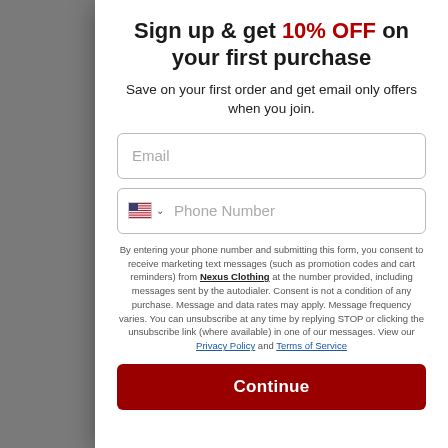Sign up & get 10% OFF on your first purchase
Save on your first order and get email only offers when you join.
Email
Phone Number
By entering your phone number and submitting this form, you consent to receive marketing text messages (such as promotion codes and cart reminders) from Nexus Clothing at the number provided, including messages sent by the autodialer. Consent is not a condition of any purchase. Message and data rates may apply. Message frequency varies. You can unsubscribe at any time by replying STOP or clicking the unsubscribe link (where available) in one of our messages. View our Privacy Policy and Terms of Service
Continue